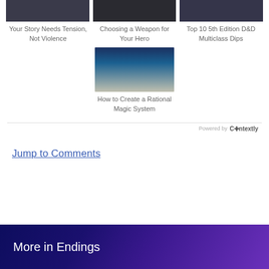[Figure (photo): Three article thumbnail images at top: dark fantasy/city image, dark magic/weapon image, dark lightning/magic image]
Your Story Needs Tension, Not Violence
Choosing a Weapon for Your Hero
Top 10 5th Edition D&D Multiclass Dips
[Figure (photo): Anime character with blue energy/magic swirling around them]
How to Create a Rational Magic System
Powered by Contextly
Jump to Comments
More in Endings